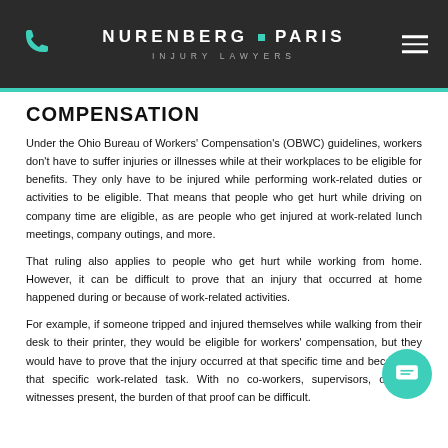NURENBERG ▪ PARIS INJURY LAWYERS
COMPENSATION
Under the Ohio Bureau of Workers' Compensation's (OBWC) guidelines, workers don't have to suffer injuries or illnesses while at their workplaces to be eligible for benefits. They only have to be injured while performing work-related duties or activities to be eligible. That means that people who get hurt while driving on company time are eligible, as are people who get injured at work-related lunch meetings, company outings, and more.
That ruling also applies to people who get hurt while working from home. However, it can be difficult to prove that an injury that occurred at home happened during or because of work-related activities.
For example, if someone tripped and injured themselves while walking from their desk to their printer, they would be eligible for workers' compensation, but they would have to prove that the injury occurred at that specific time and because of that specific work-related task. With no co-workers, supervisors, or other witnesses present, the burden of that proof can be difficult.